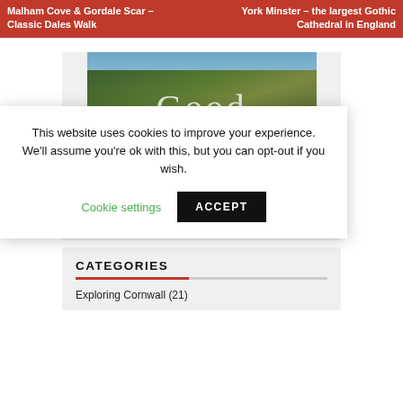Malham Cove & Gordale Scar – Classic Dales Walk | York Minster – the largest Gothic Cathedral in England
[Figure (screenshot): Screenshot of a travel/lifestyle website showing a holiday cottages advertisement image with the word 'Good' overlaid, and a holidaycottages.co.uk badge. A cookie consent overlay is shown on top asking the user to accept cookies, with a 'Cookie settings' link and an 'ACCEPT' button.]
This website uses cookies to improve your experience. We'll assume you're ok with this, but you can opt-out if you wish.
Cookie settings
ACCEPT
CATEGORIES
Exploring Cornwall (21)